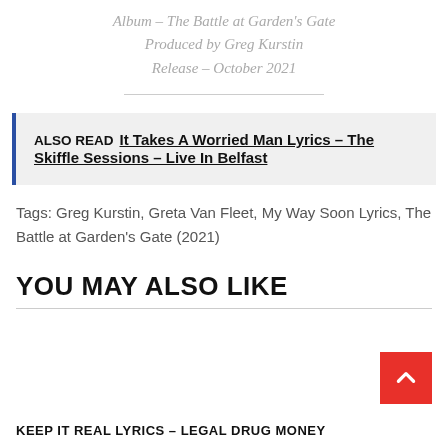Album – The Battle at Garden's Gate
Produced by Greg Kurstin
Release – October 2021
ALSO READ  It Takes A Worried Man Lyrics – The Skiffle Sessions – Live In Belfast
Tags: Greg Kurstin, Greta Van Fleet, My Way Soon Lyrics, The Battle at Garden's Gate (2021)
YOU MAY ALSO LIKE
KEEP IT REAL LYRICS – LEGAL DRUG MONEY